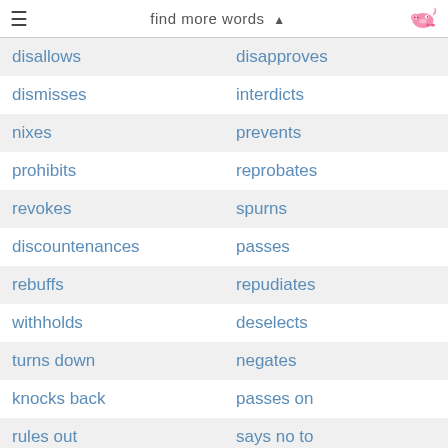≡  find more words ▲
| disallows | disapproves |
| dismisses | interdicts |
| nixes | prevents |
| prohibits | reprobates |
| revokes | spurns |
| discountenances | passes |
| rebuffs | repudiates |
| withholds | deselects |
| turns down | negates |
| knocks back | passes on |
| rules out | says no to |
| gives something a miss | gives the thumbs down to |
| throws out | gives the red light to |
| passes up | shoots down |